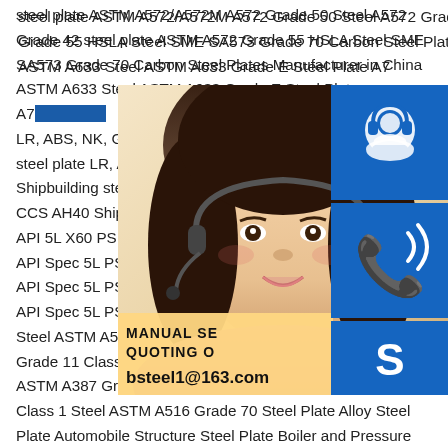steel plate ASTM A572/A572M A572 Grade 50 Steel A572 Grade 42 steel plate ASTM A572 Grade 55 HSLA Steel SME SA573 Grade 70 Carbon Steel Plates Manufacturer in China ASTM A633 Steel ASTM A633 Grade E Steel Plate A70 LR, ABS, NK, GL, DNV, BV, KR, RINA, CC steel plate LR, ABS, NK, GL, DNV, BV, KR Shipbuilding steel plate LR, ABS, NK, GL, CCS AH40 Shipbuilding steel plate API 5L API 5L X60 PSL2 Pipeline API 5L PSL1 X5 API Spec 5L PSL1 X42 Pipeline API Spec API Spec 5L PSL2 X56 Pipeline API Spec API Spec 5L PSL2 X70 Pipeline ASME SA Steel ASTM A588 Grade B Corrosion Res Grade 11 Class 1 Steel ASTM A387 Grade 11 Class 2 Steel ASTM A387 Grade 11 Class 1 Steel ASTM A387 Grade 11 Class 1 Steel ASTM A516 Grade 70 Steel Plate Alloy Steel Plate Automobile Structure Steel Plate Boiler and Pressure vessel steel plate Carbon and Low alloy High strength Steel Plate Clad Steel Plate Cold Rolled Steel Coil ASTM Corten A Weathering Resistant Steel
[Figure (photo): Customer service representative (Asian woman with headset) with blue icon panels for customer service, phone call, and Skype, plus a contact banner with email bsteel1@163.com]